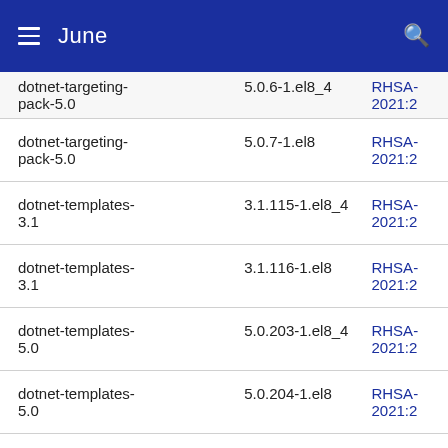June
| Package | Version | Advisory |
| --- | --- | --- |
| dotnet-targeting-pack-5.0 | 5.0.6-1.el8_4 | RHSA-2021:2 |
| dotnet-targeting-pack-5.0 | 5.0.7-1.el8 | RHSA-2021:2 |
| dotnet-templates-3.1 | 3.1.115-1.el8_4 | RHSA-2021:2 |
| dotnet-templates-3.1 | 3.1.116-1.el8 | RHSA-2021:2 |
| dotnet-templates-5.0 | 5.0.203-1.el8_4 | RHSA-2021:2 |
| dotnet-templates-5.0 | 5.0.204-1.el8 | RHSA-2021:2 |